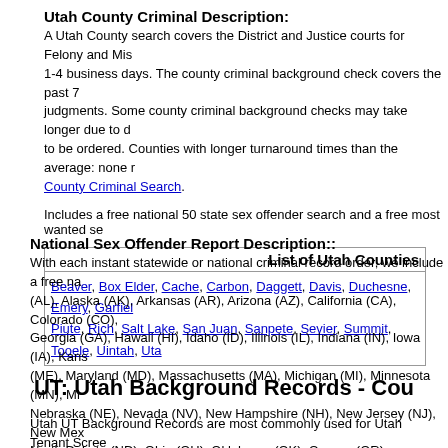Utah County Criminal Description:
A Utah County search covers the District and Justice courts for Felony and Mis... 1-4 business days. The county criminal background check covers the past 7... judgments. Some county criminal background checks may take longer due to d... to be ordered. Counties with longer turnaround times than the average: none r... County Criminal Search.
Includes a free national 50 state sex offender search and a free most wanted se...
| List of Utah Counties |
| --- |
| Beaver, Box Elder, Cache, Carbon, Daggett, Davis, Duchesne, Emery, Garfiel... Piute, Rich, Salt Lake, San Juan, Sanpete, Sevier, Summit, Tooele, Uintah, Uta... |
National Sex Offender Report Description::
With each instant statewide or national criminal record order, we include a free na... (AL), Alaska (AK), Arkansas (AR), Arizona (AZ), California (CA), Colorado (CO),... Georgia (GA), Hawaii (HI), Idaho (ID), Illinois (IL), Indiana (IN), Iowa (IA), Kans... (ME), Maryland (MD), Massachusetts (MA), Michigan (MI), Minnesota (MN), Mi... Nebraska (NE), Nevada (NV), New Hampshire (NH), New Jersey (NJ), New Mex... North Dakota (ND), Ohio (OH), Oklahoma (OK), Oregon (OR), Pennsylvania (... South Dakota (SD), Tennessee (TN), Texas (TX), Utah (UT), Vermont (VT), Vir... West Virginia (WV), Wisconsin (WI), Wyoming (WY).
UT: Utah Background Records - Cou...
Utah UT Background Records are most commonly used for Utah Tenant Scree... and Utah Employment Screening for human resources and small business w... employment screening. Many others use Criminal Records for self checks, nanny... searches, and private investigations. Utah Criminal records are public informati...